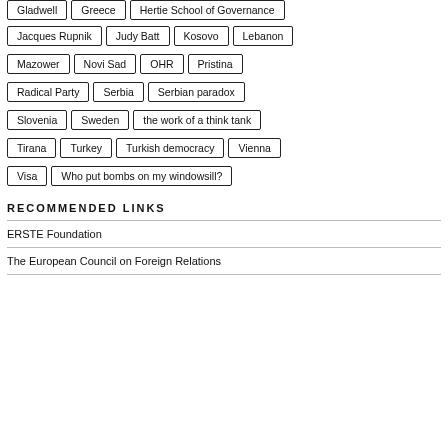Gladwell
Greece
Hertie School of Governance
Jacques Rupnik
Judy Batt
Kosovo
Lebanon
Mazower
Novi Sad
OHR
Pristina
Radical Party
Serbia
Serbian paradox
Slovenia
Sweden
the work of a think tank
Tirana
Turkey
Turkish democracy
Vienna
Visa
Who put bombs on my windowsill?
RECOMMENDED LINKS
ERSTE Foundation
The European Council on Foreign Relations